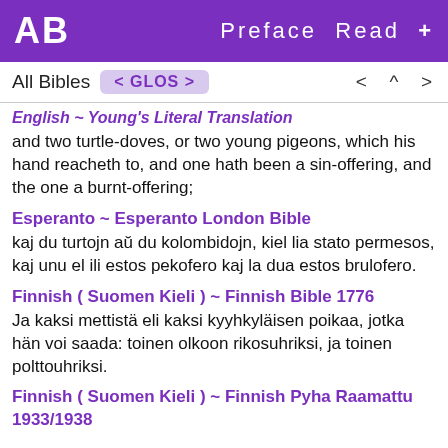AB   Preface  Read  +
All Bibles  < GLOS >   <  ^  >
English ~ Young's Literal Translation
and two turtle-doves, or two young pigeons, which his hand reacheth to, and one hath been a sin-offering, and the one a burnt-offering;
Esperanto ~ Esperanto London Bible
kaj du turtojn aŭ du kolombidojn, kiel lia stato permesos, kaj unu el ili estos pekofero kaj la dua estos brulofero.
Finnish ( Suomen Kieli ) ~ Finnish Bible 1776
Ja kaksi mettistä eli kaksi kyyhkyläisen poikaa, jotka hän voi saada: toinen olkoon rikosuhriksi, ja toinen polttouhriksi.
Finnish ( Suomen Kieli ) ~ Finnish Pyha Raamattu 1933/1938